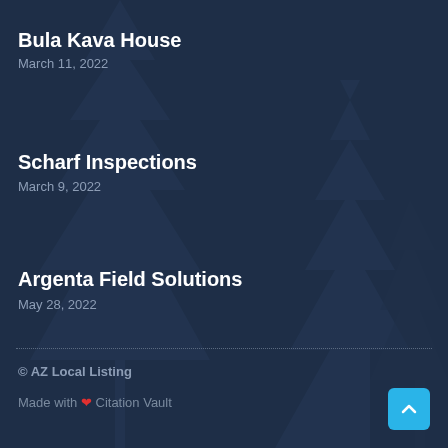Bula Kava House
March 11, 2022
Scharf Inspections
March 9, 2022
Argenta Field Solutions
May 28, 2022
© AZ Local Listing
Made with ❤ Citation Vault